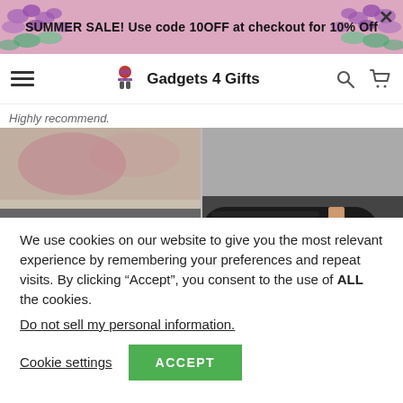SUMMER SALE! Use code 10OFF at checkout for 10% Off
Gadgets 4 Gifts
Highly recommend.
[Figure (photo): Two photos of a black and rose-gold cylindrical beauty/hair tool device, one showing the device alone and one showing it with a white USB charging cable]
We use cookies on our website to give you the most relevant experience by remembering your preferences and repeat visits. By clicking “Accept”, you consent to the use of ALL the cookies.
Do not sell my personal information.
Cookie settings
ACCEPT